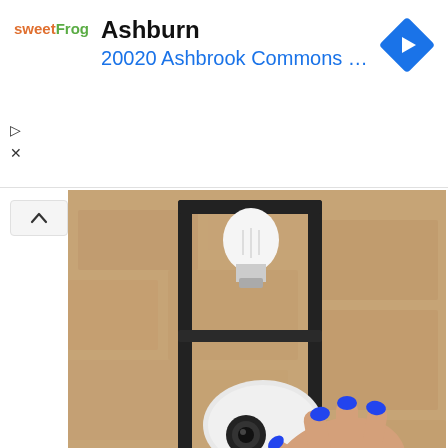[Figure (other): Advertisement banner: sweetFrog logo, location text 'Ashburn', address '20020 Ashbrook Commons Pla...', and a blue diamond navigation icon on the right.]
[Figure (photo): A sepia-toned photograph of a hand with blue nail polish holding or adjusting a white dome security camera mounted in a black metal wall bracket fixture outdoors.]
Homeowners Are Trading in Their Doorbell Cams for This.
Keilini.com